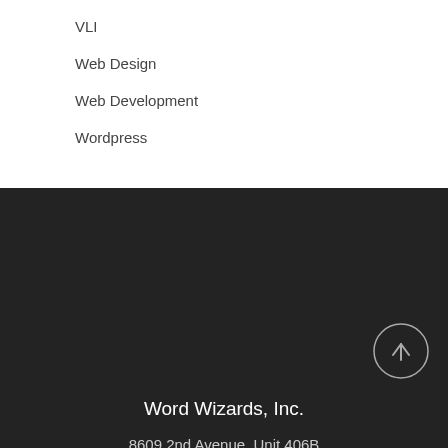VLI
Web Design
Web Development
Wordpress
Word Wizards, Inc.
8609 2nd Avenue, Unit 406B
Silver Spring, MD 20910
P: 301-986-0808
F: 301-986-0809
E: generalinfo@wordwizardsinc.com